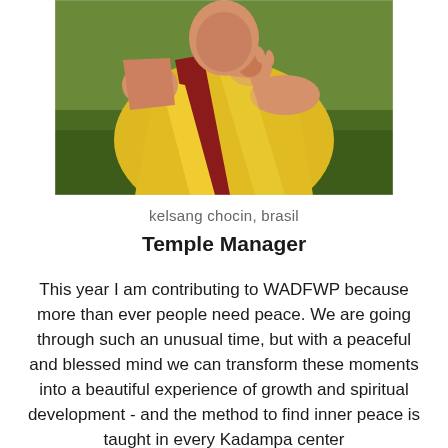[Figure (photo): Person wearing yellow and dark red robes making a hand gesture, photographed outdoors with grass in the background]
kelsang chocin, brasil
Temple Manager
This year I am contributing to WADFWP because more than ever people need peace. We are going through such an unusual time, but with a peaceful and blessed mind we can transform these moments into a beautiful experience of growth and spiritual development - and the method to find inner peace is taught in every Kadampa center